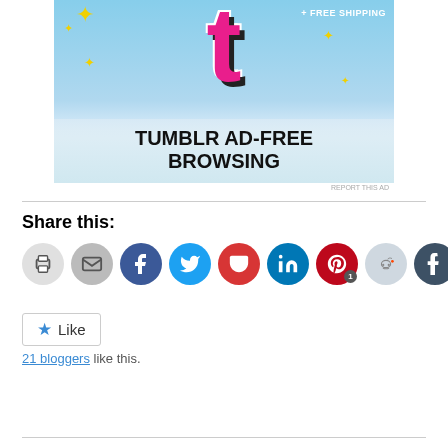[Figure (photo): Tumblr ad banner showing the Tumblr 't' logo with sparkles and text 'TUMBLR AD-FREE BROWSING' and '+ FREE SHIPPING' on a blue sky background]
REPORT THIS AD
Share this:
[Figure (infographic): Row of social sharing buttons: print, email, Facebook, Twitter, Pocket, LinkedIn, Pinterest (with badge 1), Reddit, Tumblr, print/greenprint]
Like
21 bloggers like this.